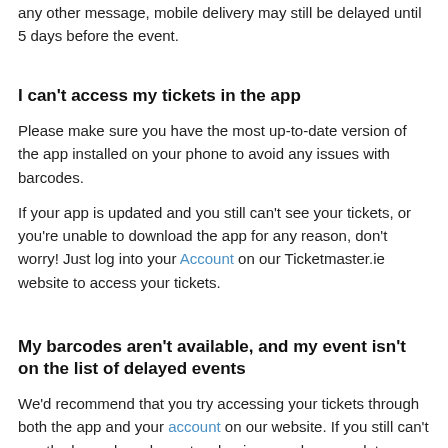any other message, mobile delivery may still be delayed until 5 days before the event.
I can't access my tickets in the app
Please make sure you have the most up-to-date version of the app installed on your phone to avoid any issues with barcodes.
If your app is updated and you still can't see your tickets, or you're unable to download the app for any reason, don't worry! Just log into your Account on our Ticketmaster.ie website to access your tickets.
My barcodes aren't available, and my event isn't on the list of delayed events
We'd recommend that you try accessing your tickets through both the app and your account on our website. If you still can't see the barcodes, please try clearing your browser data, or use an alternative browser.